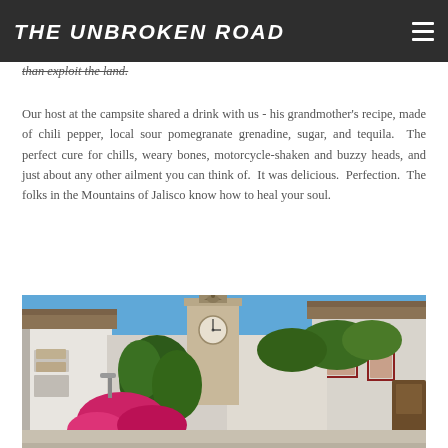THE UNBROKEN ROAD
than exploit the land.
Our host at the campsite shared a drink with us - his grandmother's recipe, made of chili pepper, local sour pomegranate grenadine, sugar, and tequila.  The perfect cure for chills, weary bones, motorcycle-shaken and buzzy heads, and just about any other ailment you can think of.  It was delicious.  Perfection.  The folks in the Mountains of Jalisco know how to heal your soul.
[Figure (photo): Street scene in a Mexican colonial town (Jalisco mountains), showing white-walled buildings with terracotta rooflines, bougainvillea flowers, and a church bell tower under a blue sky.]